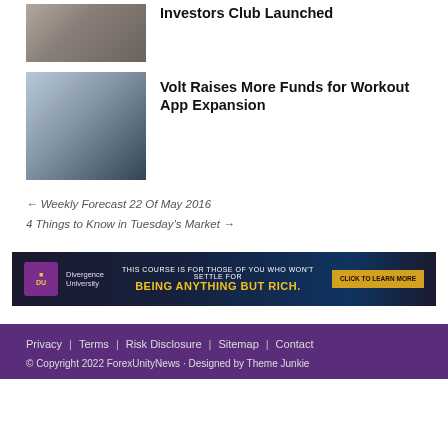Investors Club Launched
[Figure (photo): Car interior photo]
Volt Raises More Funds for Workout App Expansion
[Figure (photo): Woman doing workout exercise in gym]
← Weekly Forecast 22 Of May 2016
4 Things to Know in Tuesday's Market →
[Figure (infographic): Divergence University banner: THIS COURSE IS FOR THOSE OF YOU WHO WON'T SETTLE FOR BEING ANYTHING BUT RICH. CLICK TO LEARN MORE]
Privacy | Terms | Risk Disclosure | Sitemap | Contact
© Copyright 2022 ForexUnityNews · Designed by Theme Junkie